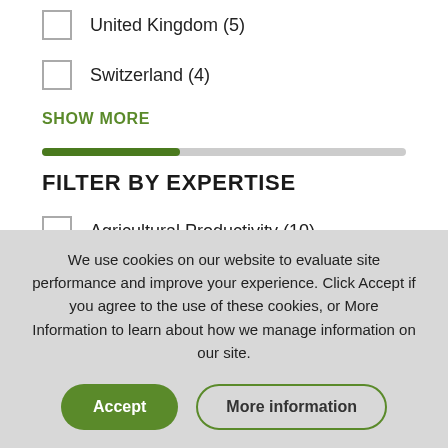United Kingdom (5)
Switzerland (4)
SHOW MORE
FILTER BY EXPERTISE
Agricultural Productivity (10)
Policy and Governance (9)
We use cookies on our website to evaluate site performance and improve your experience. Click Accept if you agree to the use of these cookies, or More Information to learn about how we manage information on our site.